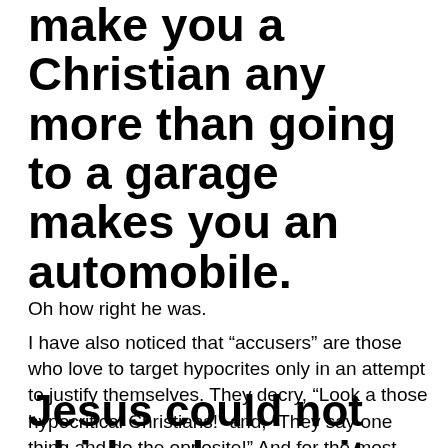make you a Christian any more than going to a garage makes you an automobile.
Oh how right he was.
I have also noticed that “accusers” are those who love to target hypocrites only in an attempt to justify themselves. They decry, “Look a those hypocritical Christians!” and, “They say one thing and do the opposite!” And for the most part, friends, I agree that their hypocrisies have reached unto the high Heavens.
Jesus could not abide a hypocrite